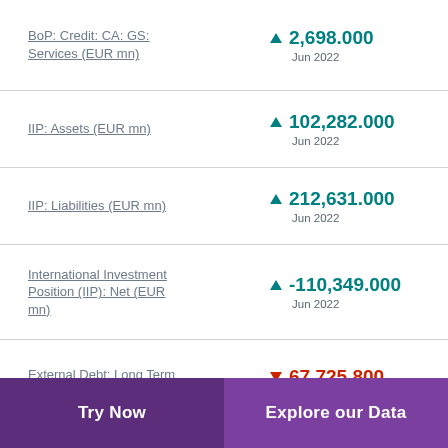BoP: Credit: CA: GS: Services (EUR mn) ▲ 2,698.000 Jun 2022
IIP: Assets (EUR mn) ▲ 102,282.000 Jun 2022
IIP: Liabilities (EUR mn) ▲ 212,631.000 Jun 2022
International Investment Position (IIP): Net (EUR mn) ▲ -110,349.000 Jun 2022
External Debt: Long Term (EUR mn) ▼ 67,725.800 Nov 2018
Try Now   Explore our Data